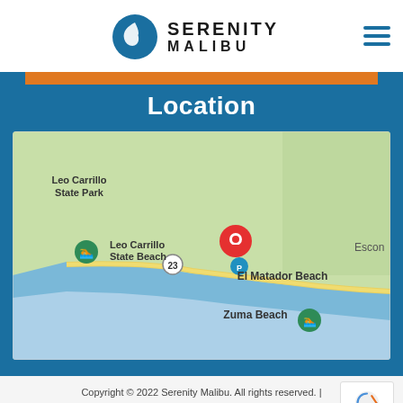Serenity Malibu
Location
[Figure (map): Google Maps screenshot showing coastal area near Malibu, CA. Features Leo Carrillo State Park, Leo Carrillo State Beach, Route 23 marker, a red location pin near El Matador Beach, and Zuma Beach. Ocean (blue) is visible on the left/bottom. Green terrain on the right. The map shows a coastline with a highway running along it.]
Copyright © 2022 Serenity Malibu. All rights reserved. | Policy | Accessibility Statement